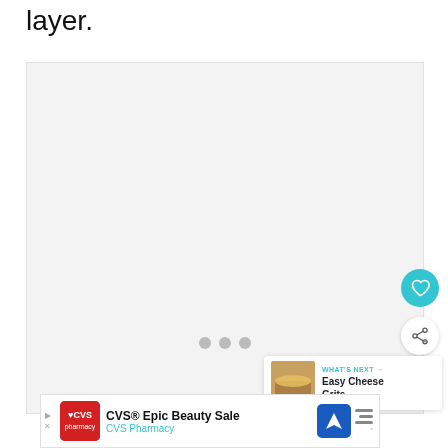layer.
[Figure (other): Large light gray image placeholder area with three small gray dots centered near the bottom, indicating a loading or carousel state. On the right side are a teal circular heart/favorite button and a white circular share button with a share icon.]
[Figure (other): What's Next card with thumbnail of Easy Cheese Grits dish and teal arrow label reading 'WHAT'S NEXT →' with text 'Easy Cheese Grits...']
[Figure (other): Advertisement banner for CVS Pharmacy 'CVS® Epic Beauty Sale' with CVS Pharmacy logo in red, navigation icon in blue, and bar chart icon.]